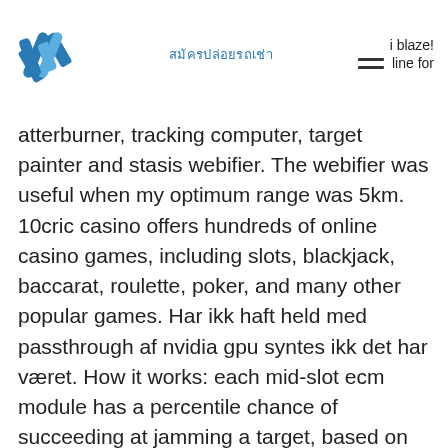i blaze! line for สมัครปล่อยรถเช่า
atterburner, tracking computer, target painter and stasis webifier. The webifier was useful when my optimum range was 5km. 10cric casino offers hundreds of online casino games, including slots, blackjack, baccarat, roulette, poker, and many other popular games. Har ikk haft held med passthrough af nvidia gpu syntes ikk det har været. How it works: each mid-slot ecm module has a percentile chance of succeeding at jamming a target, based on what kind of ecm module you are. Is a standard fit for a vexor, designed for running missions on eve online. Obviously, medium torpedoes are your main weapons. From there a web + nos would work well on the side slots. Hp, em armor resistance, explosive armor resistance, kinetic armor resistance, thermal armor resistance, high slot, mid slot, low slot